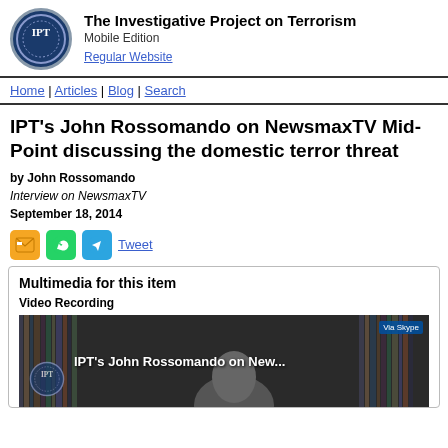The Investigative Project on Terrorism
Mobile Edition
Regular Website
Home | Articles | Blog | Search
IPT's John Rossomando on NewsmaxTV Mid-Point discussing the domestic terror threat
by John Rossomando
Interview on NewsmaxTV
September 18, 2014
[Figure (other): Social share icons: email, WhatsApp, Telegram, and Tweet link]
Multimedia for this item
Video Recording
[Figure (screenshot): Video thumbnail showing IPT's John Rossomando on New... with a Via Skype label in top right and IPT logo watermark]